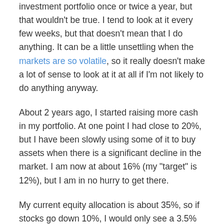investment portfolio once or twice a year, but that wouldn't be true. I tend to look at it every few weeks, but that doesn't mean that I do anything. It can be a little unsettling when the markets are so volatile, so it really doesn't make a lot of sense to look at it at all if I'm not likely to do anything anyway.
About 2 years ago, I started raising more cash in my portfolio. At one point I had close to 20%, but I have been slowly using some of it to buy assets when there is a significant decline in the market. I am now at about 16% (my "target" is 12%), but I am in no hurry to get there.
My current equity allocation is about 35%, so if stocks go down 10%, I would only see a 3.5% decline in my overall portfolio. It's not that I don't care, but that doesn't bother me too much. I am not going to sell